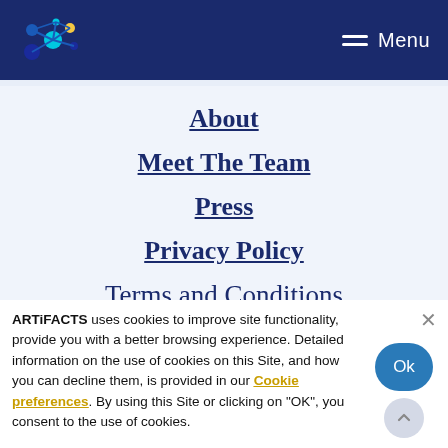ARTiFACTS [logo] Menu
About
Meet The Team
Press
Privacy Policy
Terms and Conditions
ARTiFACTS uses cookies to improve site functionality, provide you with a better browsing experience. Detailed information on the use of cookies on this Site, and how you can decline them, is provided in our Cookie preferences. By using this Site or clicking on "OK", you consent to the use of cookies.